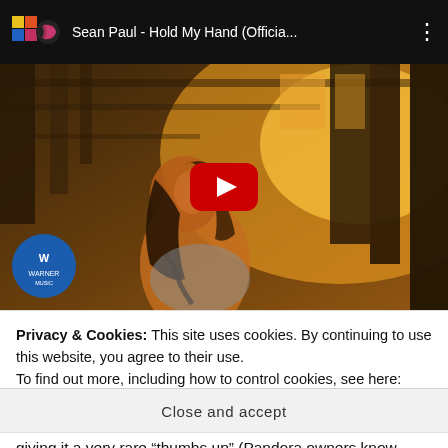[Figure (screenshot): YouTube video player showing Sean Paul - Hold My Hand (Official...) with a video thumbnail of a woman looking up, backlit by warm golden light through wooden structure. Red YouTube play button in center. Atlantic Records logo top-left. Three-dot menu top-right. Warner Music blue watermark circle bottom-left.]
Privacy & Cookies: This site uses cookies. By continuing to use this website, you agree to their use.
To find out more, including how to control cookies, see here: Cookie Policy
Close and accept
giving it a very rare "thumbs up" (Pandora owners know